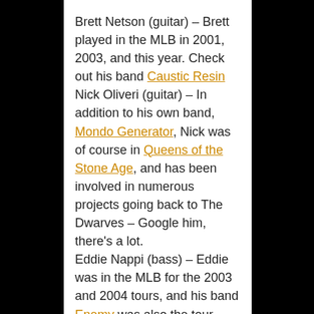Brett Netson (guitar) – Brett played in the MLB in 2001, 2003, and this year. Check out his band Caustic Resin
Nick Oliveri (guitar) – In addition to his own band, Mondo Generator, Nick was of course in Queens of the Stone Age, and has been involved in numerous projects going back to The Dwarves – Google him, there's a lot.
Eddie Nappi (bass) – Eddie was in the MLB for the 2003 and 2004 tours, and his band Enemy was also the tour opening band in 2003. He was previously in a band called Handsome.
Norm Block (drums) – played drums with MLB in 2003 and 2004. Norm was a member of Plexi, with Michael Barragan, in the '90s. He was also a member of Tape, Rasputina, and Meow Meow (who have a